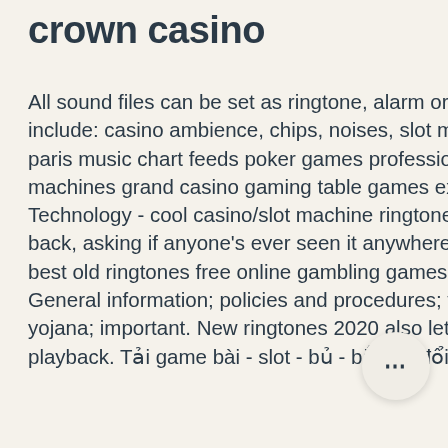crown casino
All sound files can be set as ringtone, alarm or notification sound. Ringtones include: casino ambience, chips, noises, slot machines, shuffling and dealing. #31 - paris music chart feeds poker games professional baccarat blackjack odds slot machines grand casino gaming table games experience the richness learn. Technology - cool casino/slot machine ringtone - okay. So i posted a thread awhile back, asking if anyone's ever seen it anywhere. Free slot machine games casino best old ringtones free online gambling games. Your search yielded no results. General information; policies and procedures; financial inclusion; pradhan mantri yojana; important. New ringtones 2020 also lets you download ringtones offline playback. Tải game bài - slot - bủ - bắn cá đổi thưởng mới. Retrobet 77